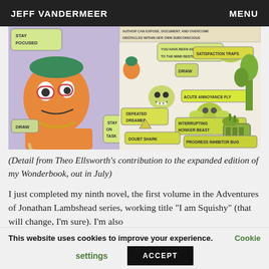JEFF VANDERMEER   MENU
[Figure (illustration): Comic illustration by Theo Ellsworth showing a figure drawing with labels such as 'Stay Focused', 'You have been added to the mind bestiary', 'Draw', 'Satisfaction Traps', 'Acute Annoyance Fly', 'Defeated Dreamer', 'Interrupting Honker Beast', 'Doubt Shark', 'Progress Inhibitor Bug', 'Stay on Task']
(Detail from Theo Ellsworth’s contribution to the expanded edition of my Wonderbook, out in July)
I just completed my ninth novel, the first volume in the Adventures of Jonathan Lambshead series, working title “I am Squishy” (that will change, I’m sure). I’m also
This website uses cookies to improve your experience.   Cookie settings   ACCEPT